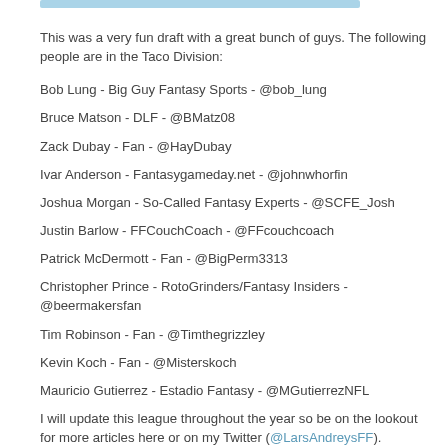This was a very fun draft with a great bunch of guys. The following people are in the Taco Division:
Bob Lung - Big Guy Fantasy Sports - @bob_lung
Bruce Matson - DLF - @BMatz08
Zack Dubay - Fan - @HayDubay
Ivar Anderson - Fantasygameday.net - @johnwhorfin
Joshua Morgan - So-Called Fantasy Experts - @SCFE_Josh
Justin Barlow - FFCouchCoach - @FFcouchcoach
Patrick McDermott - Fan - @BigPerm3313
Christopher Prince - RotoGrinders/Fantasy Insiders - @beermakersfan
Tim Robinson - Fan - @Timthegrizzley
Kevin Koch - Fan - @Misterskoch
Mauricio Gutierrez - Estadio Fantasy - @MGutierrezNFL
I will update this league throughout the year so be on the lookout for more articles here or on my Twitter (@LarsAndreysFF).